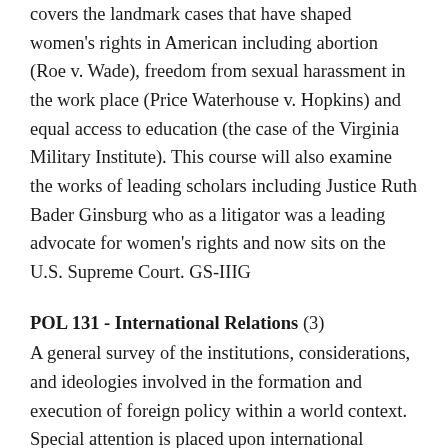covers the landmark cases that have shaped women's rights in American including abortion (Roe v. Wade), freedom from sexual harassment in the work place (Price Waterhouse v. Hopkins) and equal access to education (the case of the Virginia Military Institute). This course will also examine the works of leading scholars including Justice Ruth Bader Ginsburg who as a litigator was a leading advocate for women's rights and now sits on the U.S. Supreme Court. GS-IIIG
POL 131 - International Relations (3)
A general survey of the institutions, considerations, and ideologies involved in the formation and execution of foreign policy within a world context. Special attention is placed upon international agencies, including the United Nations. May be taken for lower division credit. GS-IIIG